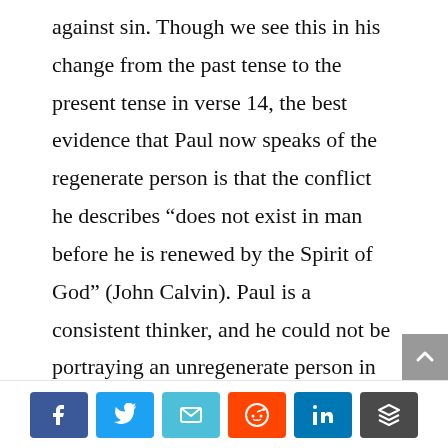against sin. Though we see this in his change from the past tense to the present tense in verse 14, the best evidence that Paul now speaks of the regenerate person is that the conflict he describes “does not exist in man before he is renewed by the Spirit of God” (John Calvin). Paul is a consistent thinker, and he could not be portraying an unregenerate person in
[Figure (other): Social sharing buttons: Facebook, Twitter, Email, Reddit, LinkedIn, Buffer]